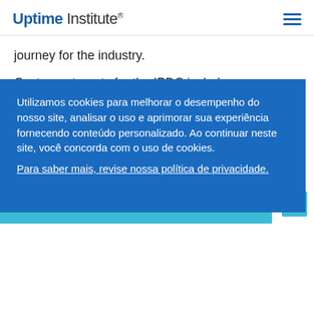Uptime Institute
journey for the industry.
Customer targets for the IPDC include:
Singapore enterprise market (local and foreign owned)
Businesses in highly transactional industries such as BFSI, Commercial, Oil and Gas Industries utilising the Twin Core Data Centre as the DR site where data is stored.
Singaporean manufacturers looking for an alternative manufacturing plant in Johor.
Global carriers- less than 5ms latency (back and forth) to Singapore via the cloud connect with Equinix.
Utilizamos cookies para melhorar o desempenho do nosso site, analisar o uso e aprimorar sua experiência fornecendo conteúdo personalizado. Ao continuar neste site, você concorda com o uso de cookies.
Para saber mais, revise nossa política de privacidade.
Entendi!